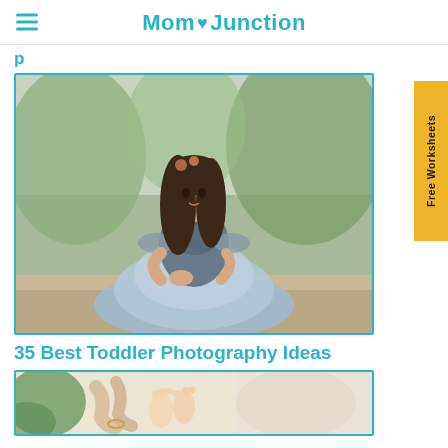Mom Junction
p
[Figure (photo): Young girl in a blue-gray tulle dress with sequined bodice and feather trim, sitting outdoors surrounded by natural greenery]
35 Best Toddler Photography Ideas
[Figure (photo): Hands holding infant feet, with greenery visible in the background]